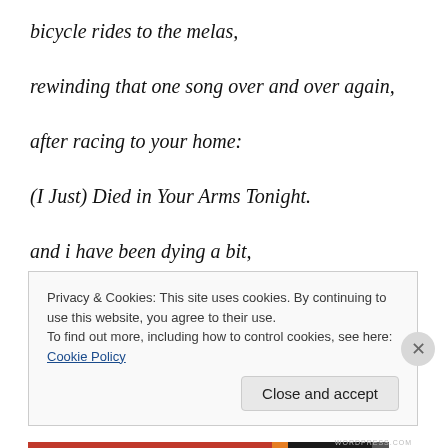bicycle rides to the melas,
rewinding that one song over and over again,
after racing to your home:
(I Just) Died in Your Arms Tonight.
and i have been dying a bit,
little each day,
Privacy & Cookies: This site uses cookies. By continuing to use this website, you agree to their use. To find out more, including how to control cookies, see here: Cookie Policy